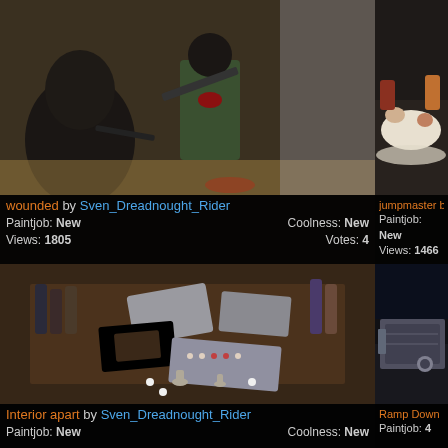[Figure (photo): Painted miniature figures of soldiers/guardsmen in action poses on a diorama base, top-left panel]
wounded by Sven_Dreadnought_Rider
Paintjob: New   Coolness: New   Views: 1805   Votes: 4
[Figure (photo): Partial view of miniatures painting workspace with paints and figures, top-right panel]
jumpmaster b
Paintjob: New   Views: 1466
[Figure (photo): Miniature spacecraft/vehicle parts laid out on a dark wooden table, bottom-left panel]
Interior apart by Sven_Dreadnought_Rider
Paintjob: New   Coolness: New
[Figure (photo): Partial view of a miniature model ramp or vehicle detail, bottom-right panel]
Ramp Down
Paintjob: 4